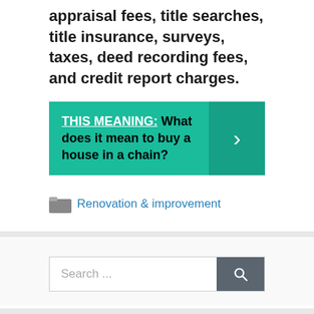appraisal fees, title searches, title insurance, surveys, taxes, deed recording fees, and credit report charges.
THIS MEANING: What does it mean to buy a house in a chain?
Renovation & improvement
Search ...